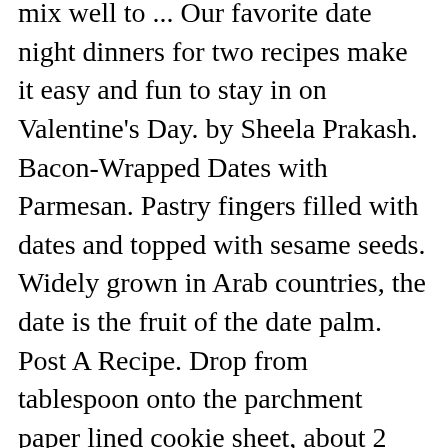mix well to ... Our favorite date night dinners for two recipes make it easy and fun to stay in on Valentine's Day. by Sheela Prakash. Bacon-Wrapped Dates with Parmesan. Pastry fingers filled with dates and topped with sesame seeds. Widely grown in Arab countries, the date is the fruit of the date palm. Post A Recipe. Drop from tablespoon onto the parchment paper lined cookie sheet, about 2 inches apart. Makes about 18 Allow all the ingredients to mix well. Take out of the freezer and into the fridge. Lightly spray a 16cm x 25cm (base measurement) lamington tin with oil. More. ... DATE FINGERS 250g Butter or Margarine 250ml Sugar 500g Dates, finely chopped 1 Egg, beaten well 100g Green Glace Cherries 100g Red Glace Cherries 200g Packet Marie Biscuits, broken into small pieces Desiccated Coconut Grease a 26 x 16cm cake tin. Wenn du eine